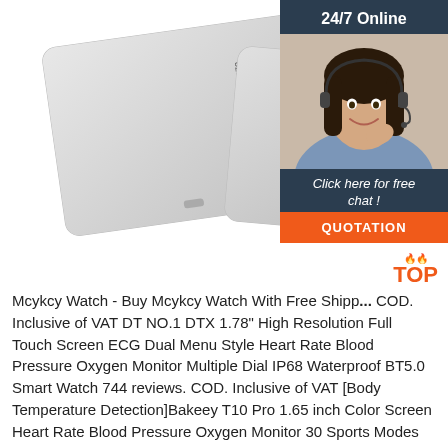[Figure (photo): Two white RFID access control cards with printed numbers (0208861351 236.45479 and partial numbers visible), overlapping each other on a white background. To the right is a customer service chat widget with a 24/7 Online header, a smiling woman with a headset, 'Click here for free chat!' text, and an orange QUOTATION button.]
Mcykcy Watch - Buy Mcykcy Watch With Free Shipping, COD. Inclusive of VAT DT NO.1 DTX 1.78" High Resolution Full Touch Screen ECG Dual Menu Style Heart Rate Blood Pressure Oxygen Monitor Multiple Dial IP68 Waterproof BT5.0 Smart Watch 744 reviews. COD. Inclusive of VAT [Body Temperature Detection]Bakeey T10 Pro 1.65 inch Color Screen Heart Rate Blood Pressure Oxygen Monitor 30 Sports Modes 30 ...